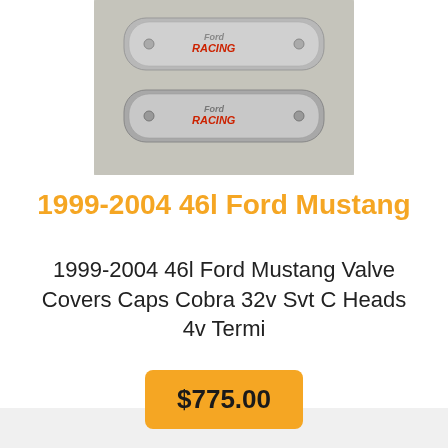[Figure (photo): Two chrome/silver Ford Racing valve cover caps with red Ford Racing logo text, placed on bubble wrap]
1999-2004 46l Ford Mustang
1999-2004 46l Ford Mustang Valve Covers Caps Cobra 32v Svt C Heads 4v Termi
$775.00